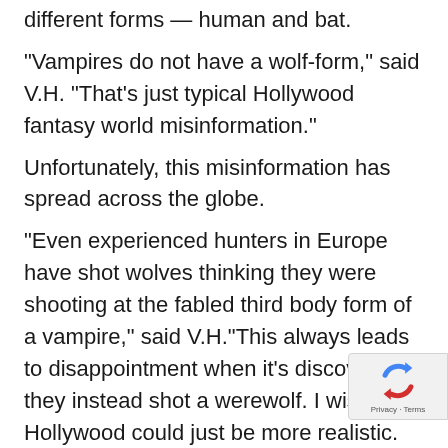different forms — human and bat.
“Vampires do not have a wolf-form,” said V.H. “That’s just typical Hollywood fantasy world misinformation.”
Unfortunately, this misinformation has spread across the globe.
“Even experienced hunters in Europe have shot wolves thinking they were shooting at the fabled third body form of a vampire,” said V.H.“This always leads to disappointment when it’s discovered they instead shot a werewolf. I wish Hollywood could just be more realistic. It’s a real disservice to all of us”
Human-form vampires are sometimes diffic…